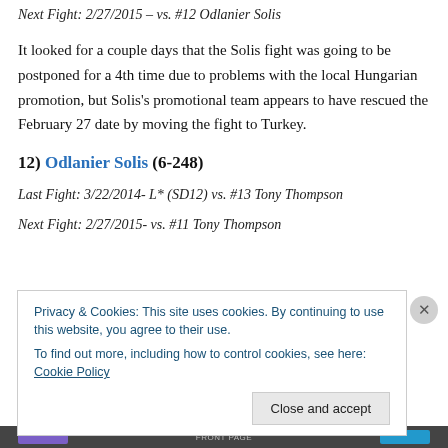Next Fight: 2/27/2015 – vs. #12 Odlanier Solis
It looked for a couple days that the Solis fight was going to be postponed for a 4th time due to problems with the local Hungarian promotion, but Solis's promotional team appears to have rescued the February 27 date by moving the fight to Turkey.
12) Odlanier Solis (6-248)
Last Fight: 3/22/2014- L* (SD12) vs. #13 Tony Thompson
Next Fight: 2/27/2015- vs. #11 Tony Thompson
Privacy & Cookies: This site uses cookies. By continuing to use this website, you agree to their use.
To find out more, including how to control cookies, see here: Cookie Policy